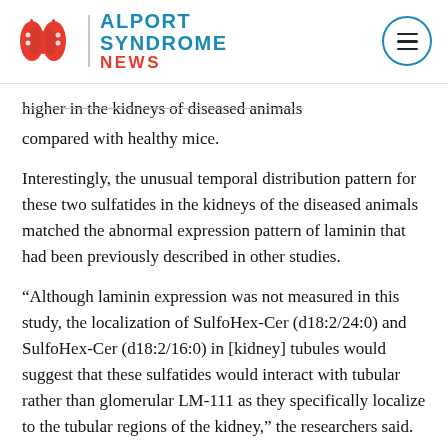ALPORT SYNDROME NEWS
higher in the kidneys of diseased animals compared with healthy mice.
Interestingly, the unusual temporal distribution pattern for these two sulfatides in the kidneys of the diseased animals matched the abnormal expression pattern of laminin that had been previously described in other studies.
“Although laminin expression was not measured in this study, the localization of SulfoHex-Cer (d18:2/24:0) and SulfoHex-Cer (d18:2/16:0) in [kidney] tubules would suggest that these sulfatides would interact with tubular rather than glomerular LM-111 as they specifically localize to the tubular regions of the kidney,” the researchers said.
The kidney tubules are the small tubes that collect...